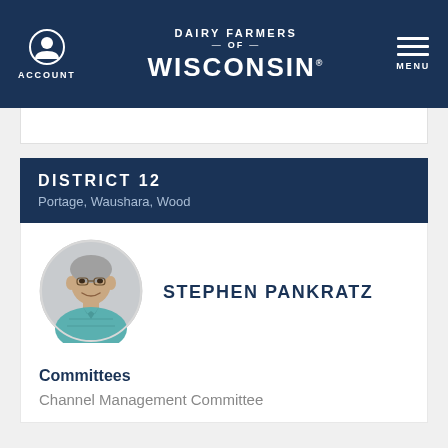ACCOUNT | DAIRY FARMERS OF WISCONSIN | MENU
DISTRICT 12 — Portage, Waushara, Wood
[Figure (photo): Circular headshot photo of Stephen Pankratz, a middle-aged man with short gray hair wearing a teal/blue plaid shirt, grey background]
STEPHEN PANKRATZ
Committees
Channel Management Committee